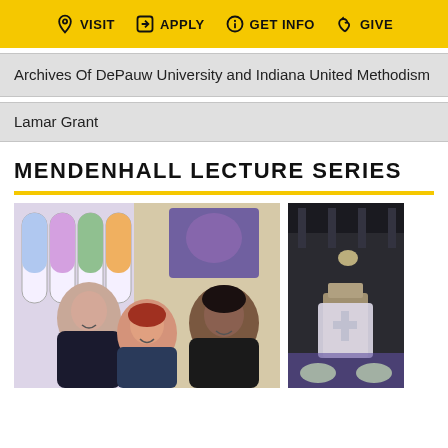VISIT  APPLY  GET INFO  GIVE
Archives Of DePauw University and Indiana United Methodism
Lamar Grant
MENDENHALL LECTURE SERIES
[Figure (photo): Group photo of three people smiling in front of stained glass windows in a church setting. A man on the left, a woman in the middle with red hair, and a man on the right.]
[Figure (photo): Interior of a church or lecture hall, dark, with a lit podium/lectern visible.]